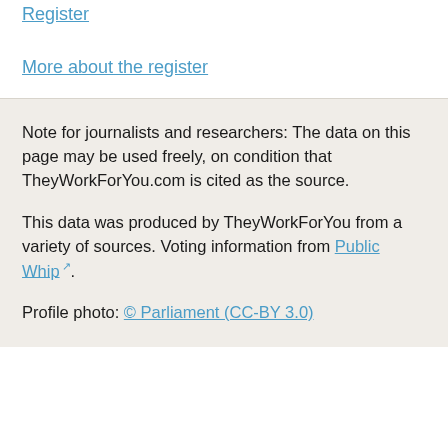Register
More about the register
Note for journalists and researchers: The data on this page may be used freely, on condition that TheyWorkForYou.com is cited as the source.
This data was produced by TheyWorkForYou from a variety of sources. Voting information from Public Whip.
Profile photo: © Parliament (CC-BY 3.0)